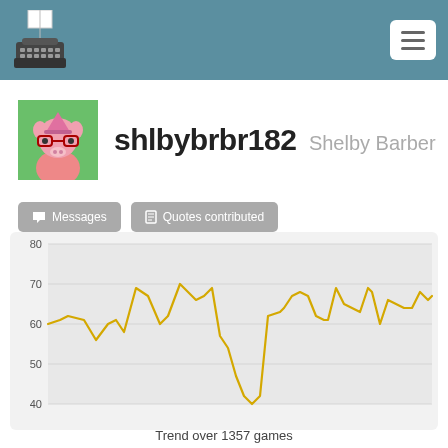shlbybrbr182 - Typeracer profile
[Figure (logo): Typewriter logo icon in header]
[Figure (illustration): Cartoon pig avatar for user shlbybrbr182]
shlbybrbr182  Shelby Barber
[Figure (line-chart): Line chart showing typing speed trend over 1357 games, values ranging from ~40 to ~80 WPM, with a notable dip to ~40 WPM in the middle portion]
Trend over 1357 games